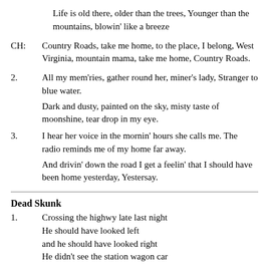Life is old there, older than the trees, Younger than the mountains, blowin' like a breeze
CH:  Country Roads, take me home, to the place, I belong, West Virginia, mountain mama, take me home, Country Roads.
2.  All my mem'ries, gather round her, miner's lady, Stranger to blue water.
Dark and dusty, painted on the sky, misty taste of moonshine, tear drop in my eye.
3.  I hear her voice in the mornin' hours she calls me. The radio reminds me of my home far away.
And drivin' down the road I get a feelin' that I should have been home yesterday, Yestersay.
Dead Skunk
1.  Crossing the highwy late last night
He should have looked left
and he should have looked right
He didn't see the station wagon car